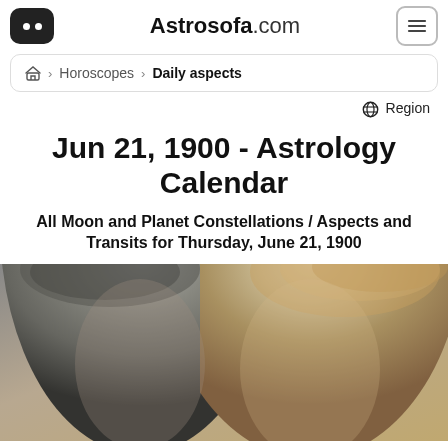Astrosofa.com
Horoscopes > Daily aspects
Region
Jun 21, 1900 - Astrology Calendar
All Moon and Planet Constellations / Aspects and Transits for Thursday, June 21, 1900
[Figure (photo): Photo of a man and woman couple, upper body/head visible]